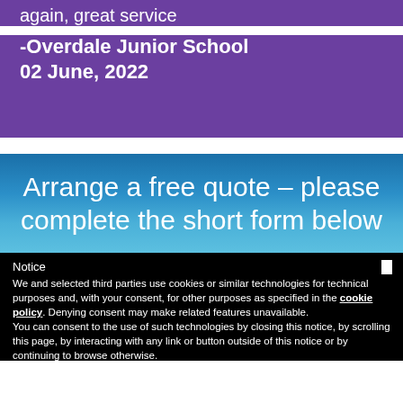again, great service
-Overdale Junior School
02 June, 2022
Arrange a free quote – please complete the short form below
Notice
We and selected third parties use cookies or similar technologies for technical purposes and, with your consent, for other purposes as specified in the cookie policy. Denying consent may make related features unavailable.
You can consent to the use of such technologies by closing this notice, by scrolling this page, by interacting with any link or button outside of this notice or by continuing to browse otherwise.